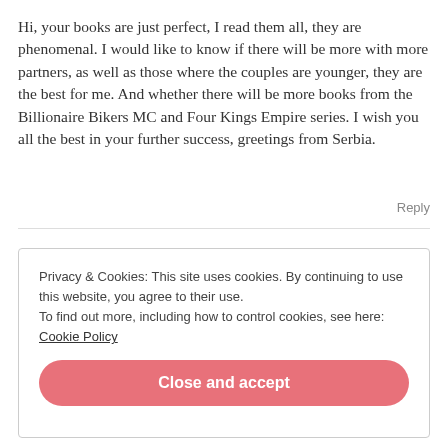Hi, your books are just perfect, I read them all, they are phenomenal. I would like to know if there will be more with more partners, as well as those where the couples are younger, they are the best for me. And whether there will be more books from the Billionaire Bikers MC and Four Kings Empire series. I wish you all the best in your further success, greetings from Serbia.
Reply
Privacy & Cookies: This site uses cookies. By continuing to use this website, you agree to their use.
To find out more, including how to control cookies, see here: Cookie Policy
Close and accept